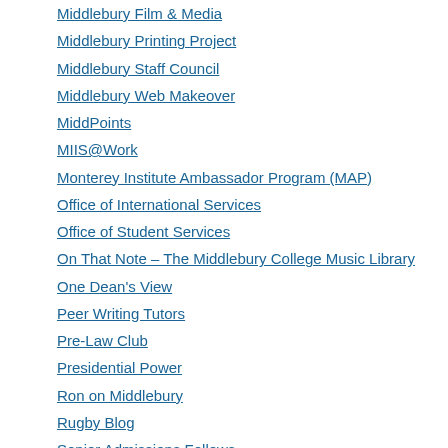Middlebury Film & Media
Middlebury Printing Project
Middlebury Staff Council
Middlebury Web Makeover
MiddPoints
MIIS@Work
Monterey Institute Ambassador Program (MAP)
Office of International Services
Office of Student Services
On That Note – The Middlebury College Music Library
One Dean's View
Peer Writing Tutors
Pre-Law Club
Presidential Power
Ron on Middlebury
Rugby Blog
Senior Admissions Fellows
Social Impact Career Paths
Student Symposiums: Resources for Presenters